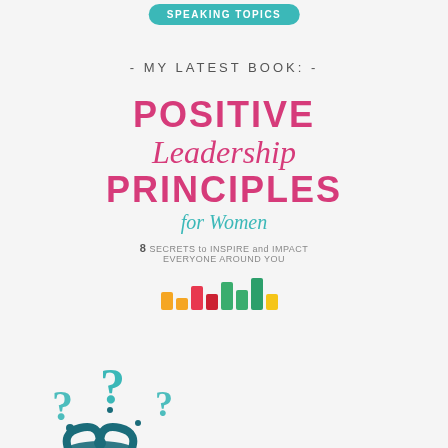SPEAKING TOPICS
- MY LATEST BOOK: -
[Figure (illustration): Book cover for 'Positive Leadership Principles for Women' by Karol Ladd. Features the title in pink/magenta bold letters, subtitle '8 Secrets to Inspire and Impact Everyone Around You', colorful bar chart icon decoration, and author name on purple banner.]
[Figure (illustration): Decorative illustration of colorful question marks floating above a gift bow, in teal/dark teal colors, at the bottom left of the page.]